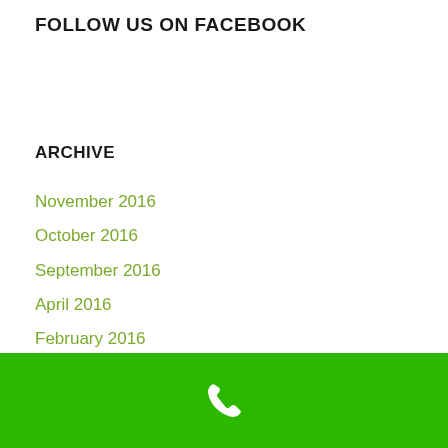FOLLOW US ON FACEBOOK
ARCHIVE
November 2016
October 2016
September 2016
April 2016
February 2016
November 2015
October 2015
September 2015
Phone icon / call button